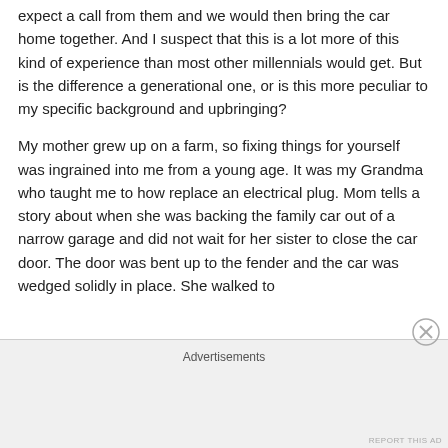expect a call from them and we would then bring the car home together.  And I suspect that this is a lot more of this kind of experience than most other millennials would get.  But is the difference a generational one, or is this more peculiar to my specific background and upbringing?
My mother grew up on a farm, so fixing things for yourself was ingrained into me from a young age.  It was my Grandma who taught me to how replace an electrical plug.  Mom tells a story about when she was backing the family car out of a narrow garage and did not wait for her sister to close the car door.  The door was bent up to the fender and the car was wedged solidly in place.  She walked to
Advertisements